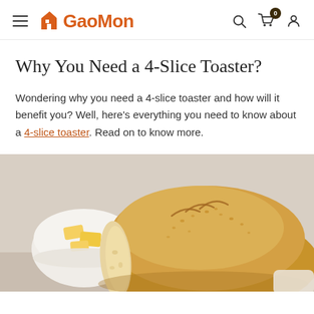GaoMon — navigation header with hamburger menu, logo, search, cart (0), and user icons
Why You Need a 4-Slice Toaster?
Wondering why you need a 4-slice toaster and how will it benefit you? Well, here's everything you need to know about a 4-slice toaster. Read on to know more.
[Figure (photo): Photo of a rustic loaf of seeded bread with a bowl of butter in the background on a white surface]